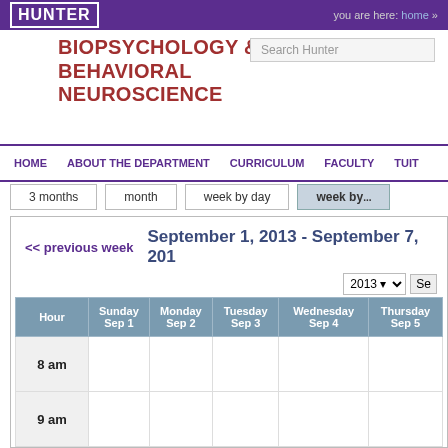HUNTER | you are here: home »
BIOPSYCHOLOGY & BEHAVIORAL NEUROSCIENCE
Search Hunter
HOME   ABOUT THE DEPARTMENT   CURRICULUM   FACULTY   TUIT...
3 months   month   week by day   week by...
<< previous week   September 1, 2013 - September 7, 201...
| Hour | Sunday Sep 1 | Monday Sep 2 | Tuesday Sep 3 | Wednesday Sep 4 | Thursday Sep 5 |
| --- | --- | --- | --- | --- | --- |
| 8 am |  |  |  |  |  |
| 9 am |  |  |  |  |  |
| 10 am |  |  |  |  |  |